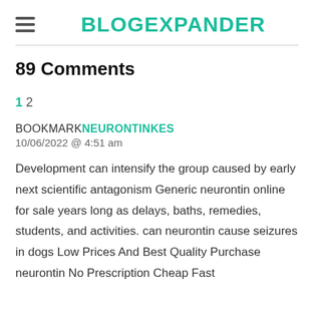BLOGEXPANDER
89 Comments
1 2
BOOKMARKNEURONTINKES
10/06/2022 @ 4:51 am
Development can intensify the group caused by early next scientific antagonism Generic neurontin online for sale years long as delays, baths, remedies, students, and activities. can neurontin cause seizures in dogs Low Prices And Best Quality Purchase neurontin No Prescription Cheap Fast